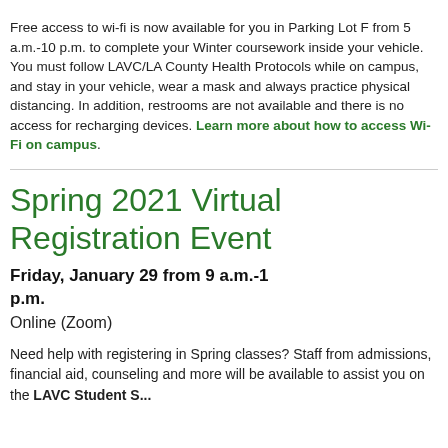Free access to wi-fi is now available for you in Parking Lot F from 5 a.m.-10 p.m. to complete your Winter coursework inside your vehicle. You must follow LAVC/LA County Health Protocols while on campus, and stay in your vehicle, wear a mask and always practice physical distancing. In addition, restrooms are not available and there is no access for recharging devices. Learn more about how to access Wi-Fi on campus.
Spring 2021 Virtual Registration Event
Friday, January 29 from 9 a.m.-1 p.m.
Online (Zoom)
Need help with registering in Spring classes? Staff from admissions, financial aid, counseling and more will be available to assist you on the LAVC Student Services...